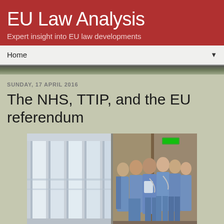EU Law Analysis
Expert insight into EU law developments
Home
SUNDAY, 17 APRIL 2016
The NHS, TTIP, and the EU referendum
[Figure (photo): Two composite photos: left shows a hospital corridor with large windows and natural light; right shows a group of medical professionals in blue scrubs walking together in a hallway]